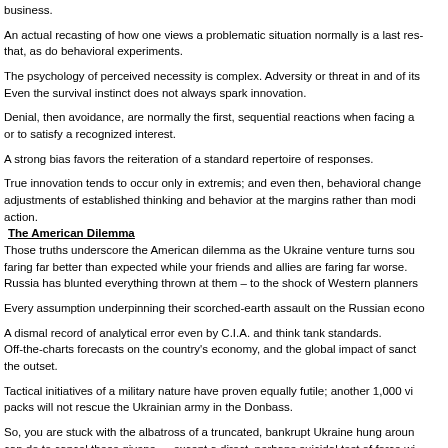business.
An actual recasting of how one views a problematic situation normally is a last resort that, as do behavioral experiments.
The psychology of perceived necessity is complex. Adversity or threat in and of its Even the survival instinct does not always spark innovation.
Denial, then avoidance, are normally the first, sequential reactions when facing a or to satisfy a recognized interest.
A strong bias favors the reiteration of a standard repertoire of responses.
True innovation tends to occur only in extremis; and even then, behavioral change adjustments of established thinking and behavior at the margins rather than modi action.
The American Dilemma
Those truths underscore the American dilemma as the Ukraine venture turns sou faring far better than expected while your friends and allies are faring far worse. Russia has blunted everything thrown at them – to the shock of Western planners
Every assumption underpinning their scorched-earth assault on the Russian econ
A dismal record of analytical error even by C.I.A. and think tank standards. Off-the-charts forecasts on the country's economy, and the global impact of sanct the outset.
Tactical initiatives of a military nature have proven equally futile; another 1,000 vi packs will not rescue the Ukrainian army in the Donbass.
So, you are stuck with the albatross of a truncated, bankrupt Ukraine hung aroun can do to cancel these givens — except a direct, perhaps suicidal test of force wi